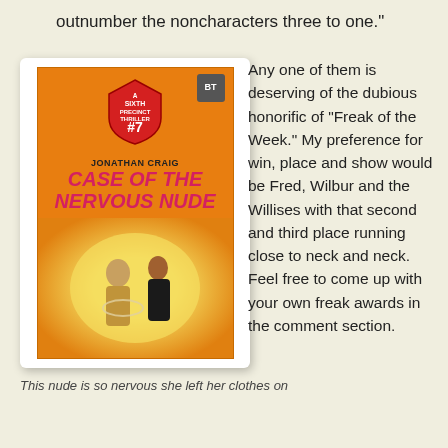outnumber the noncharacters three to one."
[Figure (photo): Book cover of 'Case of the Nervous Nude' by Jonathan Craig, A Sixth Precinct Thriller #7, orange cover with pulp fiction illustration of a woman and man, with a white rose.]
This nude is so nervous she left her clothes on
Any one of them is deserving of the dubious honorific of "Freak of the Week." My preference for win, place and show would be Fred, Wilbur and the Willises with that second and third place running close to neck and neck. Feel free to come up with your own freak awards in the comment section.